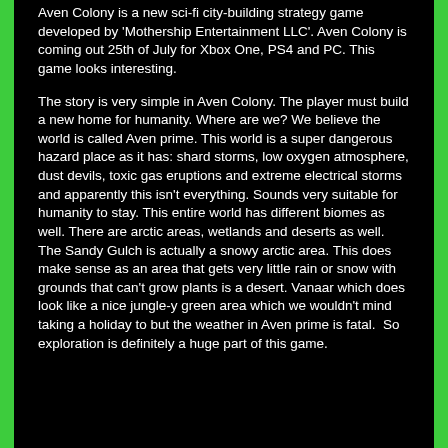Aven Colony is a new sci-fi city-building strategy game developed by 'Mothership Entertainment LLC'. Aven Colony is coming out 25th of July for Xbox One, PS4 and PC. This game looks interesting.
The story is very simple in Aven Colony. The player must build a new home for humanity. Where are we? We believe the world is called Aven prime. This world is a super dangerous hazard place as it has: shard storms, low oxygen atmosphere, dust devils, toxic gas eruptions and extreme electrical storms and apparently this isn't everything. Sounds very suitable for humanity to stay. This entire world has different biomes as well. There are arctic areas, wetlands and deserts as well. The Sandy Gulch is actually a snowy arctic area. This does make sense as an area that gets very little rain or snow with grounds that can't grow plants is a desert. Vanaar which does look like a nice jungle-y green area which we wouldn't mind taking a holiday to but the weather in Aven prime is fatal.  So exploration is definitely a huge part of this game.